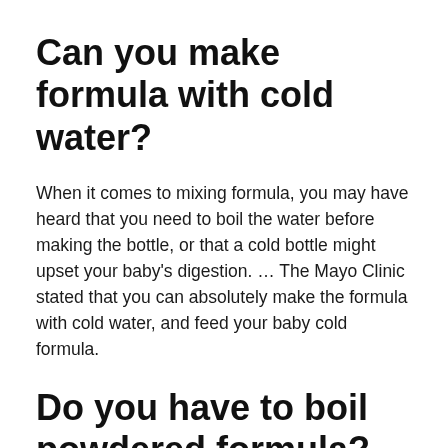Can you make formula with cold water?
When it comes to mixing formula, you may have heard that you need to boil the water before making the bottle, or that a cold bottle might upset your baby's digestion. … The Mayo Clinic stated that you can absolutely make the formula with cold water, and feed your baby cold formula.
Do you have to boil powdered formula?
The U.S. Food and Drug Administration recommends boiling water for one minute and letting it cool, or following the